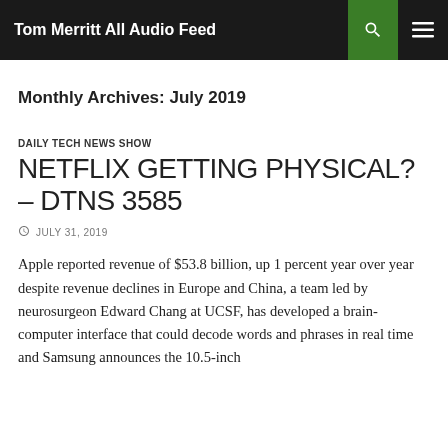Tom Merritt All Audio Feed
Monthly Archives: July 2019
DAILY TECH NEWS SHOW
NETFLIX GETTING PHYSICAL? – DTNS 3585
JULY 31, 2019
Apple reported revenue of $53.8 billion, up 1 percent year over year despite revenue declines in Europe and China, a team led by neurosurgeon Edward Chang at UCSF, has developed a brain-computer interface that could decode words and phrases in real time and Samsung announces the 10.5-inch